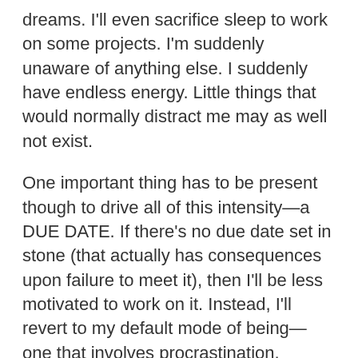dreams. I'll even sacrifice sleep to work on some projects. I'm suddenly unaware of anything else. I suddenly have endless energy. Little things that would normally distract me may as well not exist.
One important thing has to be present though to drive all of this intensity—a DUE DATE. If there's no due date set in stone (that actually has consequences upon failure to meet it), then I'll be less motivated to work on it. Instead, I'll revert to my default mode of being—one that involves procrastination, spontaneous and direction-less mindless squandering of time. Nothing gets done.
Finally, when (if) the work-in-progress becomes a work-that-is-completed, I suddenly lose interest in it and don't care about it as much as I did when I was actually working on it. That was the case when I was working on the redesign of open-orbit.com. Now that